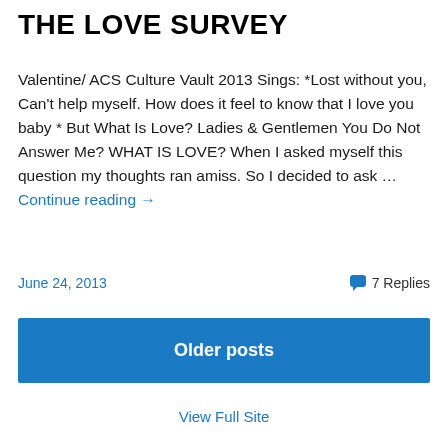THE LOVE SURVEY
Valentine/ ACS Culture Vault 2013 Sings: *Lost without you, Can't help myself. How does it feel to know that I love you baby * But What Is Love? Ladies & Gentlemen You Do Not Answer Me? WHAT IS LOVE? When I asked myself this question my thoughts ran amiss. So I decided to ask … Continue reading →
June 24, 2013    7 Replies
Older posts
View Full Site